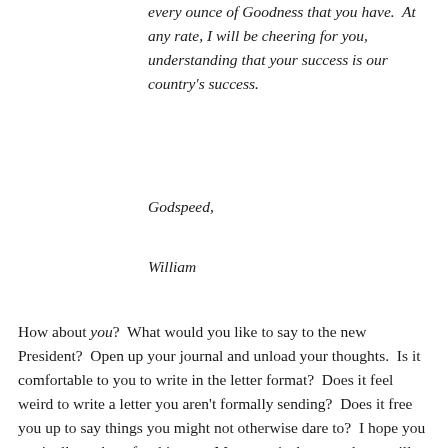every ounce of Goodness that you have.  At any rate, I will be cheering for you, understanding that your success is our country's success.
Godspeed,
William
How about you?  What would you like to say to the new President?  Open up your journal and unload your thoughts.  Is it comfortable to you to write in the letter format?  Does it feel weird to write a letter you aren't formally sending?  Does it free you up to say things you might not otherwise dare to?  I hope you put it all out there for this one.  My guess is that your letter will look a lot different than mine.  But how?  Is your letter more confrontational?  What specific issues would you like to challenge the President about on his way into office?  Things he has stood for in the past or campaigned on?  Things you assume he is planning to change from the